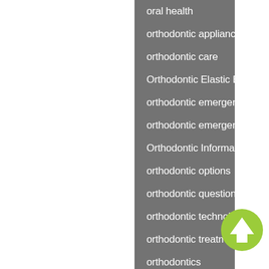oral health
orthodontic appliance
orthodontic care
Orthodontic Elastic Bands
orthodontic emergencies
orthodontic emergency
Orthodontic Information
orthodontic options
orthodontic questions
orthodontic technology
orthodontic treatment
orthodontics
orthognathic surgery
overbite
pokey wire
Practice News
proxabrush
[Figure (illustration): Green circular up-arrow button in bottom right corner]